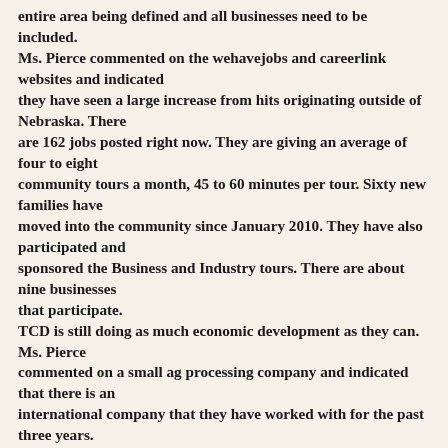entire area being defined and all businesses need to be included. Ms. Pierce commented on the wehavejobs and careerlink websites and indicated they have seen a large increase from hits originating outside of Nebraska. There are 162 jobs posted right now. They are giving an average of four to eight community tours a month, 45 to 60 minutes per tour. Sixty new families have moved into the community since January 2010. They have also participated and sponsored the Business and Industry tours. There are about nine businesses that participate. TCD is still doing as much economic development as they can. Ms. Pierce commented on a small ag processing company and indicated that there is an international company that they have worked with for the past three years. TCD is also working with WNCC to develop and create a vocational trades program that will train and keep local youth in the area. They would like to look at some strategic planning of how they can develop some